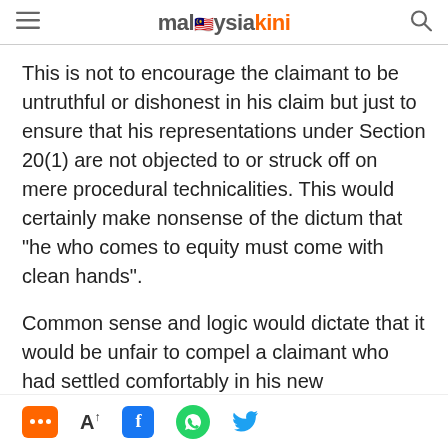malaysiakini
This is not to encourage the claimant to be untruthful or dishonest in his claim but just to ensure that his representations under Section 20(1) are not objected to or struck off on mere procedural technicalities. This would certainly make nonsense of the dictum that "he who comes to equity must come with clean hands".
Common sense and logic would dictate that it would be unfair to compel a claimant who had settled comfortably in his new